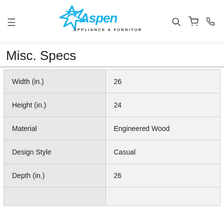[Figure (logo): Aspen Appliance & Furniture logo with blue star and cursive text]
Misc. Specs
| Width (in.) | 26 |
| Height (in.) | 24 |
| Material | Engineered Wood |
| Design Style | Casual |
| Depth (in.) | 26 |